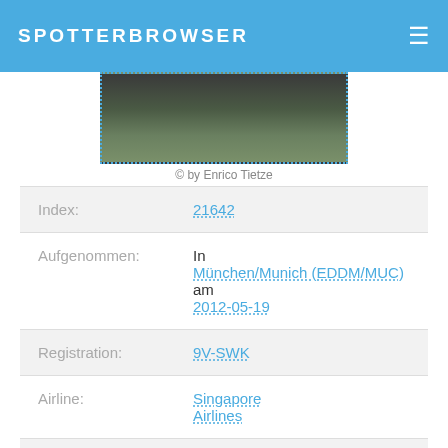SPOTTERBROWSER
[Figure (photo): Aerial/airport photo showing runway and grass area, partially visible at top of page]
© by Enrico Tietze
| Index: | 21642 |
| Aufgenommen: | In München/Munich (EDDM/MUC) am 2012-05-19 |
| Registration: | 9V-SWK |
| Airline: | Singapore Airlines |
| Flugzeugtyp: | Boeing 777 |